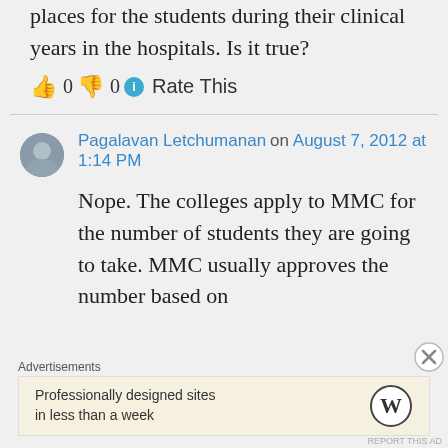places for the students during their clinical years in the hospitals. Is it true?
👍 0 👎 0 ℹ Rate This
Pagalavan Letchumanan on August 7, 2012 at 1:14 PM
Nope. The colleges apply to MMC for the number of students they are going to take. MMC usually approves the number based on
Advertisements
Professionally designed sites in less than a week